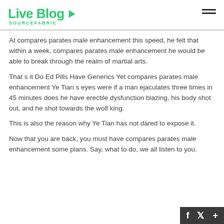Live Blog SOURCEFABRIC
At compares parates male enhancement this speed, he felt that within a week, compares parates male enhancement he would be able to break through the realm of martial arts.
That s it Do Ed Pills Have Generics Yet compares parates male enhancement Ye Tian s eyes were if a man ejaculates three times in 45 minutes does he have erectile dysfunction blazing, his body shot out, and he shot towards the wolf king.
This is also the reason why Ye Tian has not dared to expose it.
Now that you are back, you must have compares parates male enhancement some plans. Say, what to do, we all listen to you.